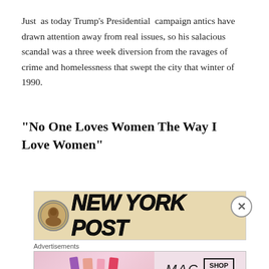Just as today Trump’s Presidential campaign antics have drawn attention away from real issues, so his salacious scandal was a three week diversion from the ravages of crime and homelessness that swept the city that winter of 1990.
“No One Loves Women The Way I Love Women”
[Figure (photo): New York Post newspaper masthead with circular portrait logo on left and bold italic 'NEW YORK POST' text on a tan/beige background]
Advertisements
[Figure (photo): MAC cosmetics advertisement banner showing colorful lipsticks on left, MAC logo text in center, and a 'SHOP NOW' box on the right]